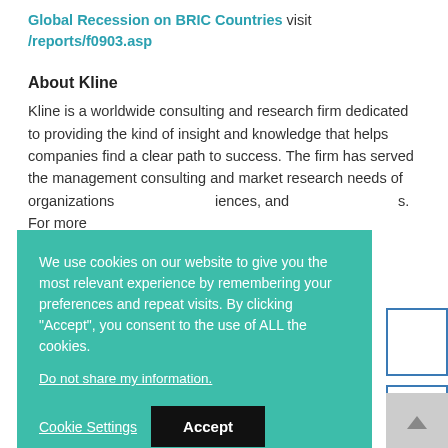Global Recession on BRIC Countries visit /reports/f0903.asp
About Kline
Kline is a worldwide consulting and research firm dedicated to providing the kind of insight and knowledge that helps companies find a clear path to success. The firm has served the management consulting and market research needs of organizations iences, and s. For more
We use cookies on our website to give you the most relevant experience by remembering your preferences and repeat visits. By clicking "Accept", you consent to the use of ALL the cookies.

Do not share my information.

Cookie Settings   Accept